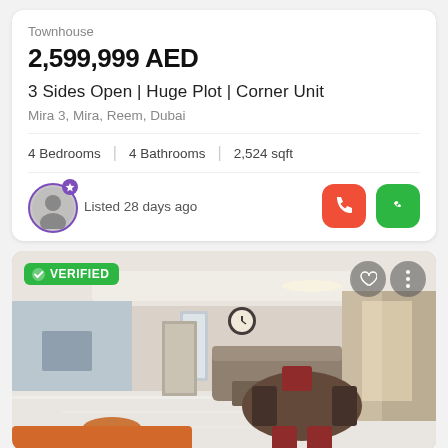Townhouse
2,599,999 AED
3 Sides Open | Huge Plot | Corner Unit
Mira 3, Mira, Reem, Dubai
4 Bedrooms | 4 Bathrooms | 2,524 sqft
Listed 28 days ago
[Figure (photo): Interior photo of a furnished townhouse living/dining room with marble floors, round dining table with chairs, sofa, curtains, and glass sliding door to balcony. VERIFIED badge overlay.]